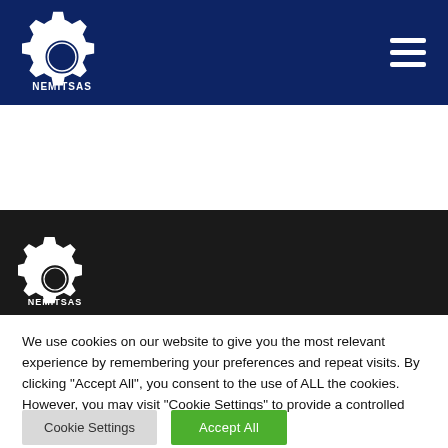[Figure (logo): Nemitsas logo — gear/cog with circle inside, white on dark blue, with text NEMITSAS below]
[Figure (logo): Nemitsas footer logo — gear/cog white on dark background, smaller version]
We use cookies on our website to give you the most relevant experience by remembering your preferences and repeat visits. By clicking “Accept All”, you consent to the use of ALL the cookies. However, you may visit "Cookie Settings" to provide a controlled consent.
Cookie Settings
Accept All